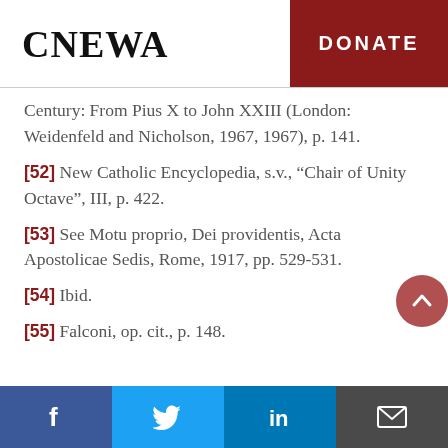CNEWA | DONATE
Century: From Pius X to John XXIII (London: Weidenfeld and Nicholson, 1967, 1967), p. 141.
[52] New Catholic Encyclopedia, s.v., “Chair of Unity Octave”, III, p. 422.
[53] See Motu proprio, Dei providentis, Acta Apostolicae Sedis, Rome, 1917, pp. 529-531.
[54] Ibid.
[55] Falconi, op. cit., p. 148.